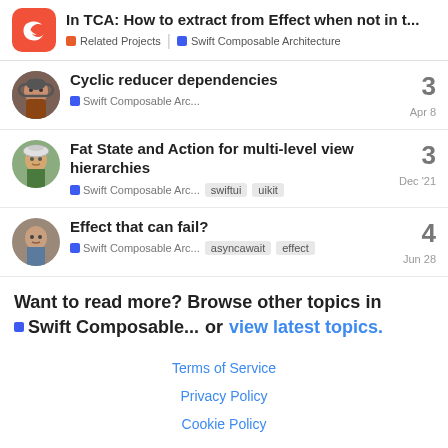In TCA: How to extract from Effect when not in t... | Related Projects | Swift Composable Architecture
Cyclic reducer dependencies | Swift Composable Arc... | 3 replies | Apr 8
Fat State and Action for multi-level view hierarchies | Swift Composable Arc... | swiftui | uikit | 3 replies | Dec '21
Effect that can fail? | Swift Composable Arc... | asyncawait | effect | 4 replies | Jun 28
Want to read more? Browse other topics in Swift Composable... or view latest topics.
Terms of Service | Privacy Policy | Cookie Policy